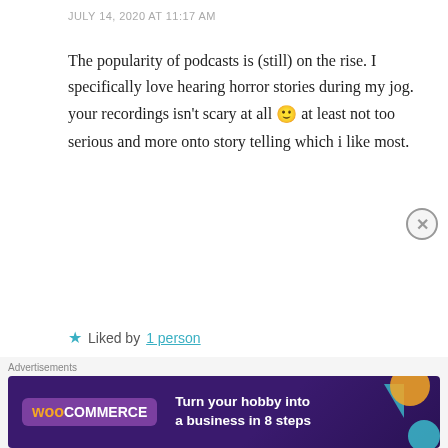JULY 14, 2020 AT 11:17 AM
The popularity of podcasts is (still) on the rise. I specifically love hearing horror stories during my jog. your recordings isn't scary at all 🙂 at least not too serious and more onto story telling which i like most.
★ Liked by 1 person
REPLY
Ashli Ferguson
[Figure (other): WooCommerce advertisement banner: Turn your hobby into a business in 8 steps]